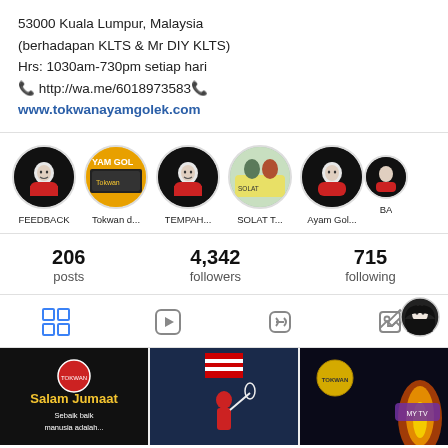53000 Kuala Lumpur, Malaysia
(berhadapan KLTS & Mr DIY KLTS)
Hrs: 1030am-730pm setiap hari
📞 http://wa.me/6018973583 📞
www.tokwanayamgolek.com
[Figure (photo): Row of Instagram story highlight circles with labels: FEEDBACK, Tokwan d..., TEMPAH..., SOLAT T..., Ayam Gol..., BA (partially visible)]
206 posts   4,342 followers   715 following
[Figure (screenshot): Instagram tab bar with grid, reels, IGTV, tagged icons, and an avatar badge in the top right corner]
[Figure (photo): Three Instagram post thumbnails: 'Salam Jumaat Sebaik baik manusia adalah...' on dark background, Malaysian badminton player, and dark fire-themed background]